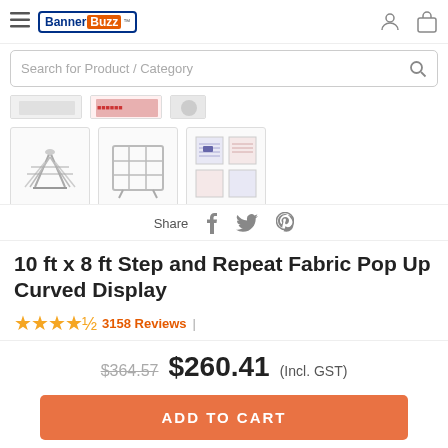BannerBuzz - Navigation bar with logo, user and cart icons
Search for Product / Category
[Figure (photo): Product thumbnail image strip showing a folded frame stand, a grid frame display, and printed fabric panels for a pop-up display]
Share
10 ft x 8 ft Step and Repeat Fabric Pop Up Curved Display
★★★★½ 3158 Reviews |
$364.57  $260.41 (Incl. GST)
ADD TO CART